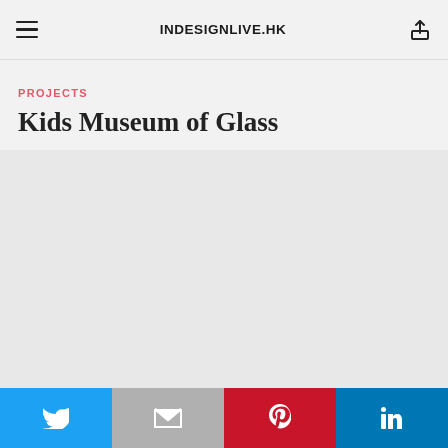INDESIGNLIVE.HK
PROJECTS
Kids Museum of Glass
[Figure (photo): Gray placeholder image area below the title]
Twitter | Gmail | Pinterest | LinkedIn share buttons